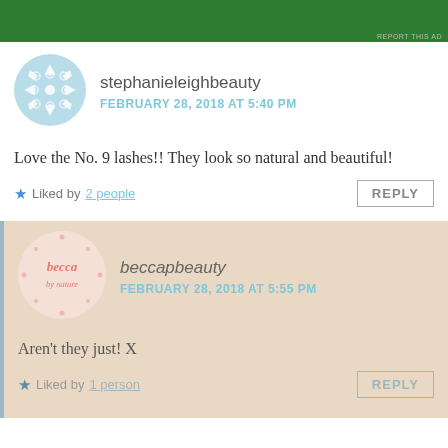[Figure (other): Green advertisement banner at top of page with partial logo and text visible]
REPORT THIS AD
stephanieleighbeauty
FEBRUARY 28, 2018 AT 5:40 PM
Love the No. 9 lashes!! They look so natural and beautiful!
Liked by 2 people
REPLY
beccapbeauty
FEBRUARY 28, 2018 AT 5:55 PM
Aren't they just! X
Liked by 1 person
REPLY